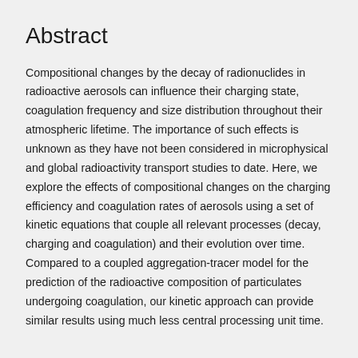Abstract
Compositional changes by the decay of radionuclides in radioactive aerosols can influence their charging state, coagulation frequency and size distribution throughout their atmospheric lifetime. The importance of such effects is unknown as they have not been considered in microphysical and global radioactivity transport studies to date. Here, we explore the effects of compositional changes on the charging efficiency and coagulation rates of aerosols using a set of kinetic equations that couple all relevant processes (decay, charging and coagulation) and their evolution over time. Compared to a coupled aggregation-tracer model for the prediction of the radioactive composition of particulates undergoing coagulation, our kinetic approach can provide similar results using much less central processing unit time.